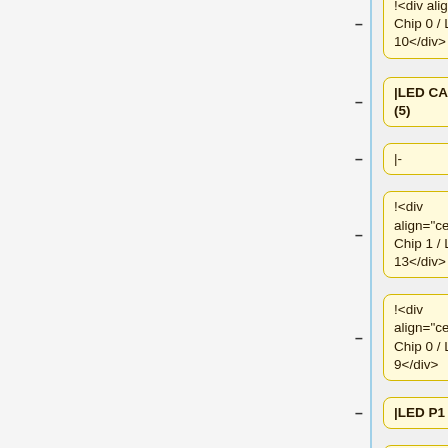!<div align="center">Chip 0 / Led 10</div>
|LED CAN COM (5)
|-
!<div align="center">Chip 1 / Led 13</div>
!<div align="center">Chip 0 / Led 9</div>
|LED P1 (6)
|-
!<div align="center">Chip 1 / Led